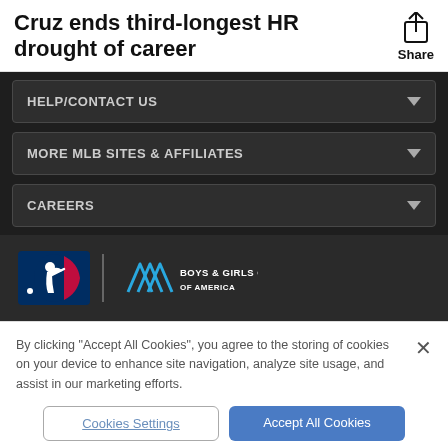Cruz ends third-longest HR drought of career
HELP/CONTACT US
MORE MLB SITES & AFFILIATES
CAREERS
[Figure (logo): MLB logo and Boys & Girls Clubs of America partnership logo]
By clicking "Accept All Cookies", you agree to the storing of cookies on your device to enhance site navigation, analyze site usage, and assist in our marketing efforts.